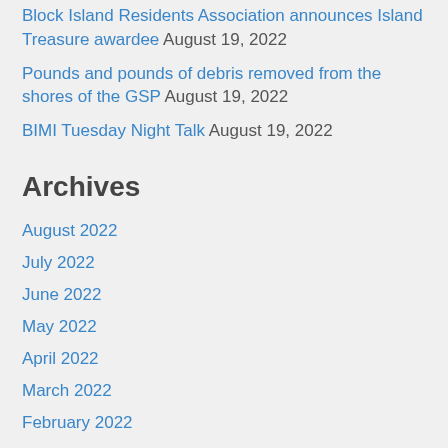Block Island Residents Association announces Island Treasure awardee August 19, 2022
Pounds and pounds of debris removed from the shores of the GSP August 19, 2022
BIMI Tuesday Night Talk August 19, 2022
Archives
August 2022
July 2022
June 2022
May 2022
April 2022
March 2022
February 2022
January 2022